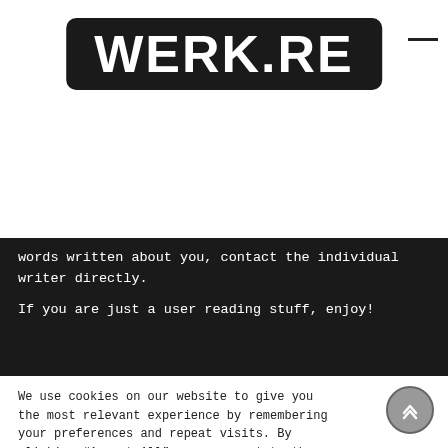[Figure (logo): WERK.RE logo in white bold monospace font on a black rounded rectangle background]
words written about you, contact the individual writer directly.

If you are just a user reading stuff, enjoy!
We use cookies on our website to give you the most relevant experience by remembering your preferences and repeat visits. By clicking “Accept All”, you consent to the use of ALL the cookies. However, you may visit “Cookie Settings” to provide a controlled consent.
Cookie Settings   Accept All